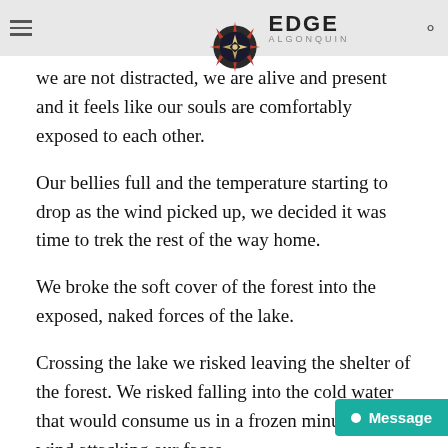EDGE ALGONQUIN
we are not distracted, we are alive and present and it feels like our souls are comfortably exposed to each other.
Our bellies full and the temperature starting to drop as the wind picked up, we decided it was time to trek the rest of the way home.
We broke the soft cover of the forest into the exposed, naked forces of the lake.
Crossing the lake we risked leaving the shelter of the forest. We risked falling into the cold water that would consume us in a frozen minute. The wind attacking our faces,